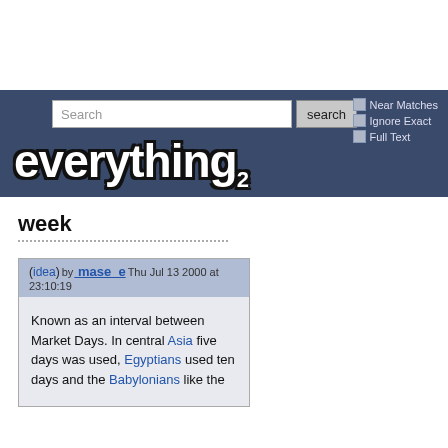everything2 — Search bar with Near Matches, Ignore Exact, Full Text checkboxes
week
(idea) by mase_e Thu Jul 13 2000 at 23:10:19
Known as an interval between Market Days. In central Asia five days was used, Egyptians used ten days and the Babylonians like the